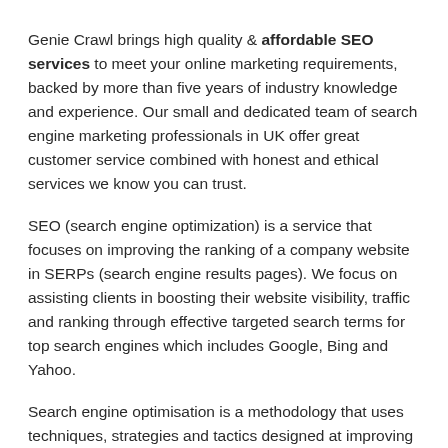Genie Crawl brings high quality & affordable SEO services to meet your online marketing requirements, backed by more than five years of industry knowledge and experience. Our small and dedicated team of search engine marketing professionals in UK offer great customer service combined with honest and ethical services we know you can trust.
SEO (search engine optimization) is a service that focuses on improving the ranking of a company website in SERPs (search engine results pages). We focus on assisting clients in boosting their website visibility, traffic and ranking through effective targeted search terms for top search engines which includes Google, Bing and Yahoo.
Search engine optimisation is a methodology that uses techniques, strategies and tactics designed at improving website visitor numbers to any website, this is achieved